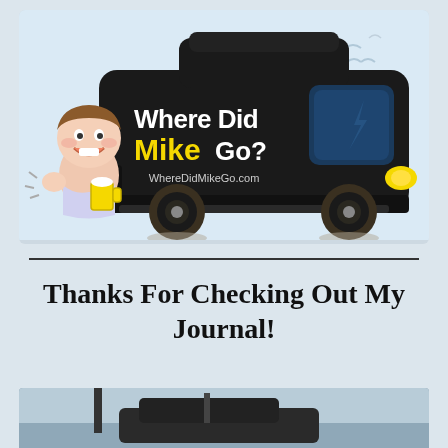[Figure (illustration): Cartoon illustration of a black van with 'Where Did Mike Go?' text on its side (with 'Mike' in yellow), a cartoon boy peeking from behind the van, and 'WhereDidMikeGo.com' text below. Light blue background with cartoon seagulls.]
Thanks For Checking Out My Journal!
[Figure (photo): Partial photo of what appears to be a dark vehicle or scene, cropped at the bottom of the page.]